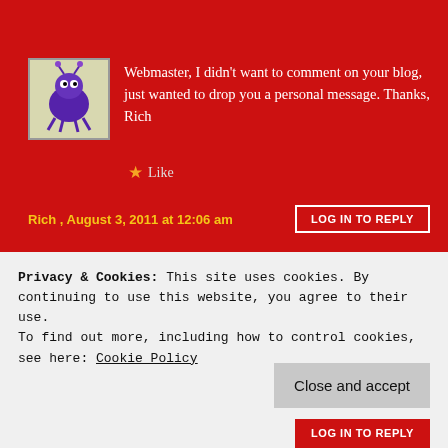[Figure (illustration): Small avatar icon with purple creature on light background]
Webmaster, I didn't want to comment on your blog, just wanted to drop you a personal message. Thanks, Rich
★ Like
Rich , August 3, 2011 at 12:06 am
LOG IN TO REPLY
[Figure (photo): Small avatar photo showing a person in room]
HI Rich thanks for the info on plugins but I don't care if this blog reaches #1 anywhere. I just want to write about music and take live band photos. That is my passion. I did edit your comment but
Privacy & Cookies: This site uses cookies. By continuing to use this website, you agree to their use.
To find out more, including how to control cookies, see here: Cookie Policy
Close and accept
LOG IN TO REPLY